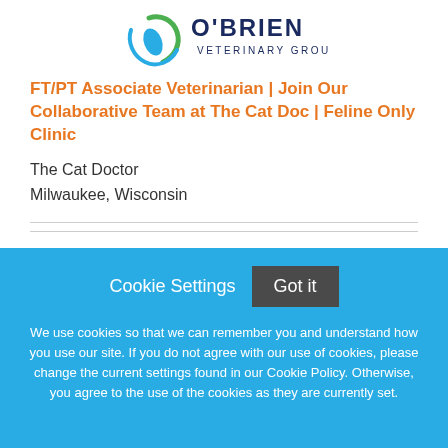[Figure (logo): O'Brien Veterinary Group logo with circular green/blue swoosh icon and navy blue text]
FT/PT Associate Veterinarian | Join Our Collaborative Team at The Cat Doc | Feline Only Clinic
The Cat Doctor
Milwaukee, Wisconsin
Cookie Settings  Got it

We use cookies so that we can remember you and understand how you use our site. If you do not agree with our use of cookies, please change the current settings found in our Cookie Policy. Otherwise, you agree to the use of the cookies as they are currently set.